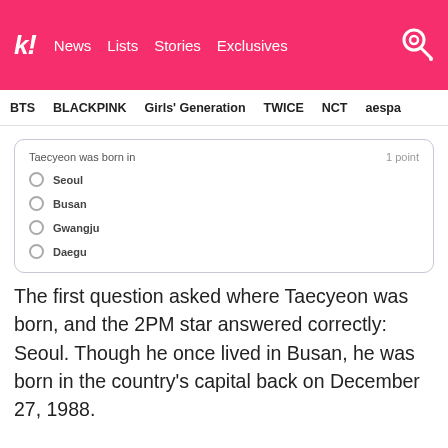Koreaboo | News | Lists | Stories | Exclusives
BTS   BLACKPINK   Girls' Generation   TWICE   NCT   aespa
[Figure (screenshot): Quiz question box: 'Taecyeon was born in' with 4 radio button options: Seoul, Busan, Gwangju, Daegu. 1 point shown on right.]
The first question asked where Taecyeon was born, and the 2PM star answered correctly: Seoul. Though he once lived in Busan, he was born in the country's capital back on December 27, 1988.